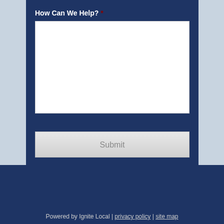How Can We Help? *
[Figure (screenshot): White textarea input box for form submission]
Submit
Powered by Ignite Local | privacy policy | site map